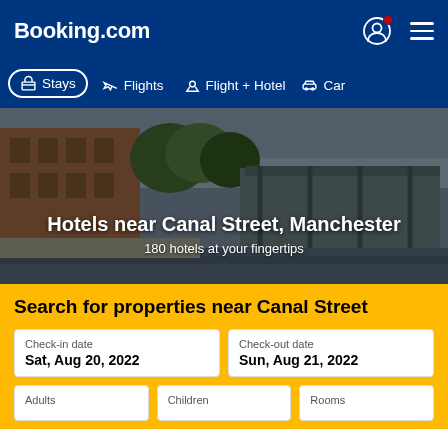Booking.com
[Figure (screenshot): Booking.com navigation bar with logo, user icon, and hamburger menu on dark blue background]
[Figure (screenshot): Tab bar with Stays (active), Flights, Flight + Hotel, Car options on dark blue background]
[Figure (photo): Hero image of Canal Street, Manchester with canal, buildings, and trees]
Hotels near Canal Street, Manchester
180 hotels at your fingertips
Search for properties near Canal Street
Check-in date
Sat, Aug 20, 2022
Check-out date
Sun, Aug 21, 2022
Adults
Children
Rooms